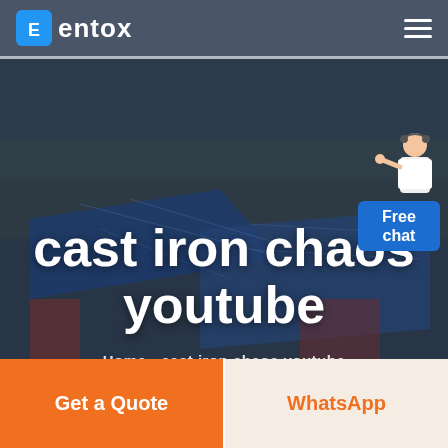entox
[Figure (photo): Aerial view of a large industrial facility with blue-roofed buildings, overlaid with a dark semi-transparent overlay. Hero background image for the website.]
cast iron chaos youtube
Home  -  cast iron chaos youtube
[Figure (illustration): Customer service representative figure (person in white coat gesturing) with a blue 'Free chat' speech bubble widget in the top right corner.]
Get a Quote
WhatsApp